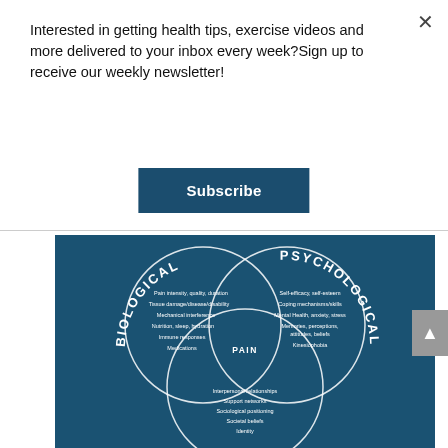Interested in getting health tips, exercise videos and more delivered to your inbox every week?Sign up to receive our weekly newsletter!
[Figure (other): Subscribe button — dark teal rectangular button with white bold text 'Subscribe']
[Figure (infographic): Venn diagram on dark teal background showing three overlapping circles labeled BIOLOGICAL (top-left), PSYCHOLOGICAL (top-right), and a bottom circle (SOCIAL implied). The center intersection is labeled PAIN. Biological circle lists: Pain intensity, quality, duration; Tissue damage/disease/disability; Mechanical interference; Nutrition, sleep, hydration; Immune responses; Medications. Psychological circle lists: Self-efficacy, self-esteem; Coping mechanisms/skills; Mental Health, anxiety, stress; Memories, perceptions, attitudes, beliefs; Kinesiophobia. Bottom circle lists: Interpersonal relationships; Support networks; Sociological positioning; Societal beliefs; Identity.]